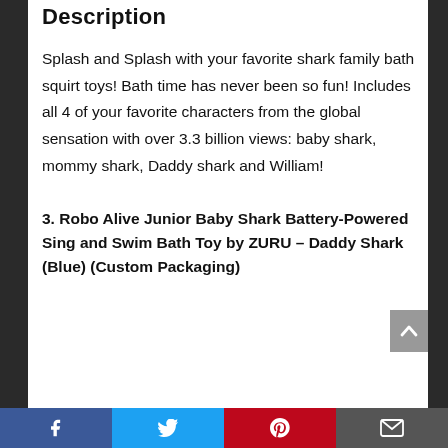Description
Splash and Splash with your favorite shark family bath squirt toys! Bath time has never been so fun! Includes all 4 of your favorite characters from the global sensation with over 3.3 billion views: baby shark, mommy shark, Daddy shark and William!
3. Robo Alive Junior Baby Shark Battery-Powered Sing and Swim Bath Toy by ZURU – Daddy Shark (Blue) (Custom Packaging)